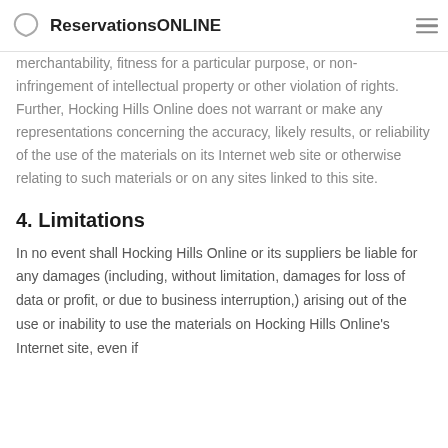ReservationsONLINE
merchantability, fitness for a particular purpose, or non-infringement of intellectual property or other violation of rights. Further, Hocking Hills Online does not warrant or make any representations concerning the accuracy, likely results, or reliability of the use of the materials on its Internet web site or otherwise relating to such materials or on any sites linked to this site.
4. Limitations
In no event shall Hocking Hills Online or its suppliers be liable for any damages (including, without limitation, damages for loss of data or profit, or due to business interruption,) arising out of the use or inability to use the materials on Hocking Hills Online's Internet site, even if